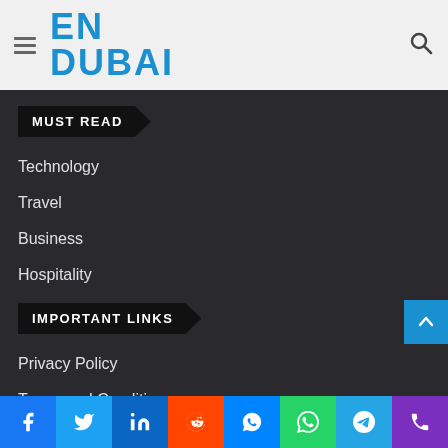EN DUBAI — navigation header with logo and search icon
MUST READ
Technology
Travel
Business
Hospitality
IMPORTANT LINKS
Privacy Policy
Terms and Conditions
About